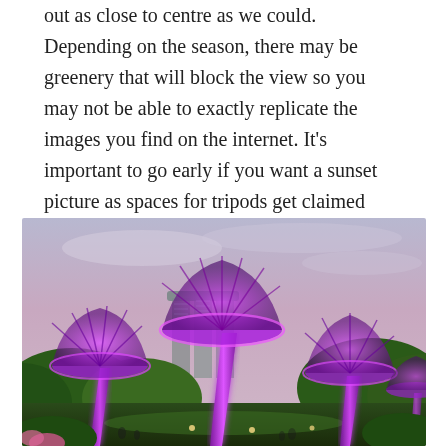out as close to centre as we could. Depending on the season, there may be greenery that will block the view so you may not be able to exactly replicate the images you find on the internet. It's important to go early if you want a sunset picture as spaces for tripods get claimed quickly as the sunset approaches and the best spots are fairly limited due to the greenery blocking some of the view.
[Figure (photo): Photo of the Supertree Grove at Gardens by the Bay, Singapore, lit in purple/pink at dusk, with Marina Bay Sands hotel visible in the background and lush green gardens below.]